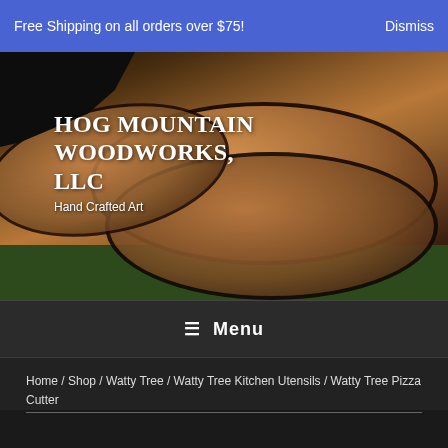Free Shipping on all orders over $75!   Dismiss
[Figure (photo): Hero banner photo of wooden bowls with live edges on green grass, with black tree silhouette at top-left. Site name 'HOG MOUNTAIN WOODWORKS, LLC' and tagline 'Hand Crafted Art' overlaid in white text.]
HOG MOUNTAIN WOODWORKS, LLC
Hand Crafted Art
≡  Menu
Home / Shop / Watty Tree / Watty Tree Kitchen Utensils / Watty Tree Pizza Cutter